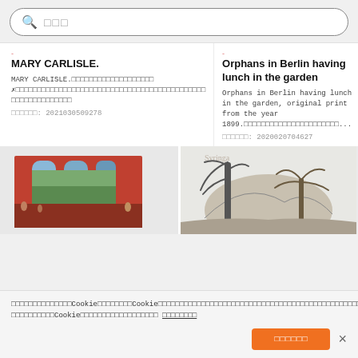[Figure (screenshot): Search bar with magnifying glass icon and placeholder text in Japanese/CJK characters]
MARY CARLISLE.
MARY CARLISLE.□□□□□□□□□□□□□□□□□□□□□□※□□□□□□□□□□□□□□□□□□□□□□□□□□□□□□□□□□□□□□□□□□□□□□□□□□□□
□□□□□□: 2021030509278
Orphans in Berlin having lunch in the garden
Orphans in Berlin having lunch in the garden, original print from the year 1899.□□□□□□□□□□□□□□□□□□□□□□□□□□...
□□□□□□: 2020020704627
[Figure (photo): Painting showing an interior scene with arched windows overlooking a landscape, with figures and artworks visible]
[Figure (photo): Etching/print showing a landscape with trees and mountains, with partial text visible at top]
□□□□□□□□□□□□□□□Cookie□□□□□□□□Cookie□□□□□□□□□□□□□□□□□□□□□□□□□□□□□□□□□□□□□□□□□□□□□□□□□□□□□□□□□□□□□□□□Cookie□□□□□□□□□□□□□□□□□□□□□ □□□□□□□□